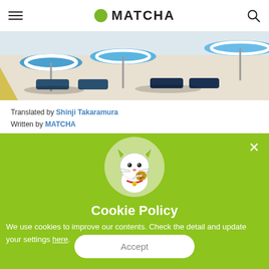MATCHA
[Figure (photo): Aerial view of a beach with blue-and-white striped umbrellas, sun loungers, and sandy beach]
Translated by Shinji Takaramura
Written by MATCHA
[Figure (illustration): Green cookie policy popup with cartoon cat mascot eating a cookie, on a light green circular background]
Cookie Policy
We use cookies to improve our contents. Check the detail and update your settings here.
Accept